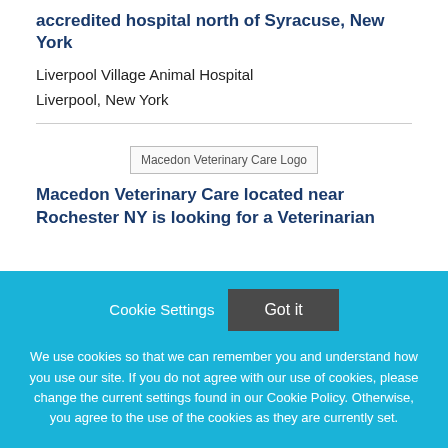accredited hospital north of Syracuse, New York
Liverpool Village Animal Hospital
Liverpool, New York
[Figure (logo): Macedon Veterinary Care Logo placeholder image]
Macedon Veterinary Care located near Rochester NY is looking for a Veterinarian
Cookie Settings
Got it
We use cookies so that we can remember you and understand how you use our site. If you do not agree with our use of cookies, please change the current settings found in our Cookie Policy. Otherwise, you agree to the use of the cookies as they are currently set.